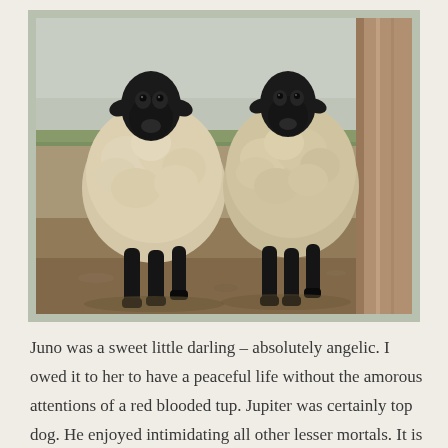[Figure (photo): Two Suffolk sheep (black face and legs, woolly white/tan bodies) standing side by side facing the camera in a farmyard setting with dirt ground and a wooden post visible on the right. Photo has a light sage/green border/mat around it.]
Juno was a sweet little darling – absolutely angelic. I owed it to her to have a peaceful life without the amorous attentions of a red blooded tup. Jupiter was certainly top dog. He enjoyed intimidating all other lesser mortals. It is only myself and Alan that he